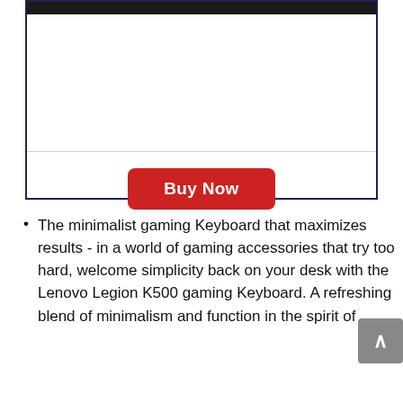[Figure (screenshot): Product card with dark top bar, white image area, horizontal divider, and a red 'Buy Now' button centered at the bottom]
The minimalist gaming Keyboard that maximizes results - in a world of gaming accessories that try too hard, welcome simplicity back on your desk with the Lenovo Legion K500 gaming Keyboard. A refreshing blend of minimalism and function in the spirit of